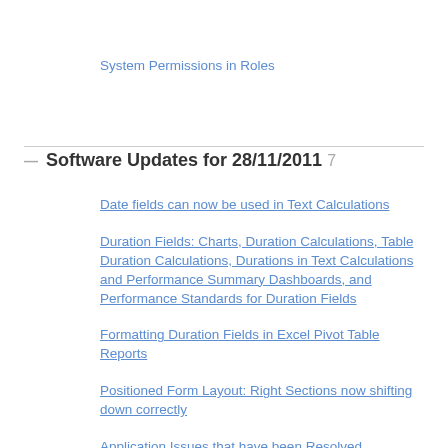System Permissions in Roles
Software Updates for 28/11/2011  7
Date fields can now be used in Text Calculations
Duration Fields: Charts, Duration Calculations, Table Duration Calculations, Durations in Text Calculations and Performance Summary Dashboards, and Performance Standards for Duration Fields
Formatting Duration Fields in Excel Pivot Table Reports
Positioned Form Layout: Right Sections now shifting down correctly
Application Issues that have been Resolved
Sharing Training Blocks with Other Professionals on Your System
Sharing Yearly Plans with Other Professionals on Your System